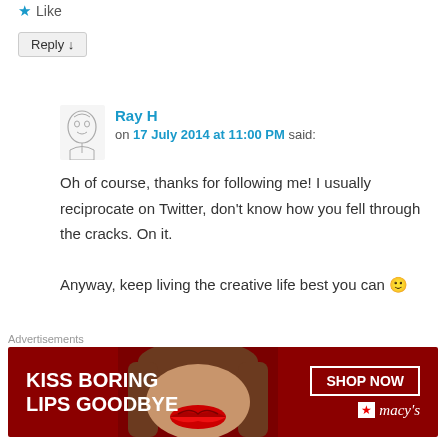★ Like
Reply ↓
Ray H on 17 July 2014 at 11:00 PM said:
Oh of course, thanks for following me! I usually reciprocate on Twitter, don't know how you fell through the cracks. On it.

Anyway, keep living the creative life best you can 🙂
★ Like
Advertisements
[Figure (illustration): Macy's advertisement banner: red background with woman's face showing red lips, text 'KISS BORING LIPS GOODBYE', 'SHOP NOW' button, and Macy's logo with star]